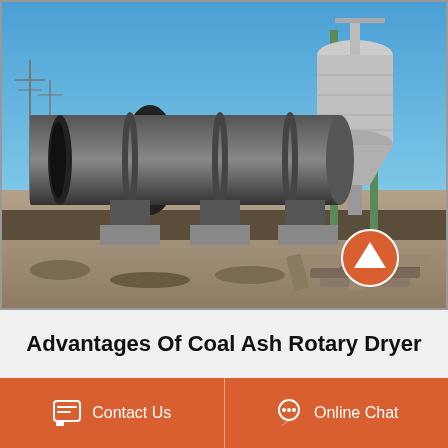[Figure (photo): Industrial outdoor photograph of a large rotary dryer (long cylindrical drum) mounted on a support structure, with a tall cyclone/separator tower structure on the right side. Blue sky background, industrial site with power lines visible in the distance. Construction materials and debris in foreground.]
Advantages Of Coal Ash Rotary Dryer
Contact Us
Online Chat